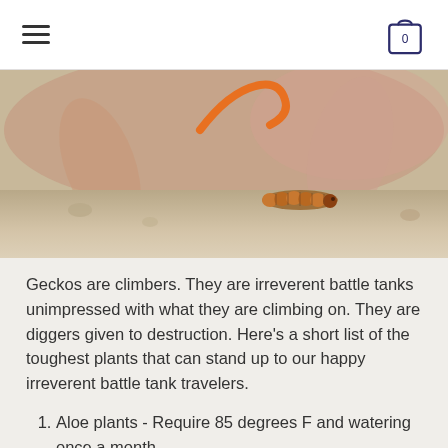Navigation menu and cart icon
[Figure (photo): Close-up photo of a mealworm larva on sandy surface with gecko legs visible in the blurred background]
Geckos are climbers. They are irreverent battle tanks unimpressed with what they are climbing on. They are diggers given to destruction. Here's a short list of the toughest plants that can stand up to our happy irreverent battle tank travelers.
Aloe plants - Require 85 degrees F and watering once a month.
Air plants - Require 90 degrees F and no need to water. They don't need soil for planting but rock, log,